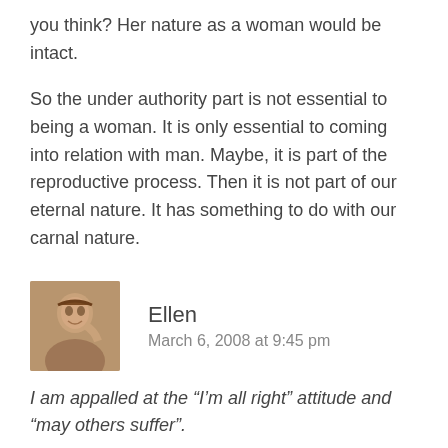you think? Her nature as a woman would be intact.
So the under authority part is not essential to being a woman. It is only essential to coming into relation with man. Maybe, it is part of the reproductive process. Then it is not part of our eternal nature. It has something to do with our carnal nature.
Ellen
March 6, 2008 at 9:45 pm
I am appalled at the “I’m all right” attitude and “may others suffer”.
If I had said that, you would have a point, but I didn't so that just makes this yet another false accusation that I grow very